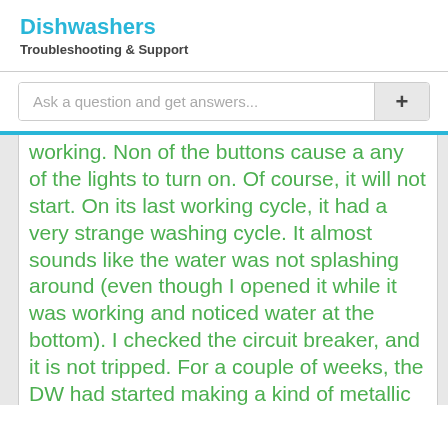Dishwashers
Troubleshooting & Support
Ask a question and get answers...
working. Non of the buttons cause a any of the lights to turn on. Of course, it will not start. On its last working cycle, it had a very strange washing cycle. It almost sounds like the water was not splashing around (even though I opened it while it was working and noticed water at the bottom). I checked the circuit breaker, and it is not tripped. For a couple of weeks, the DW had started making a kind of metallic noise while in the washing cycle. Also,
It is nice to see a problem described with such a depth of observations. It helps in closing on to the possible causes of the